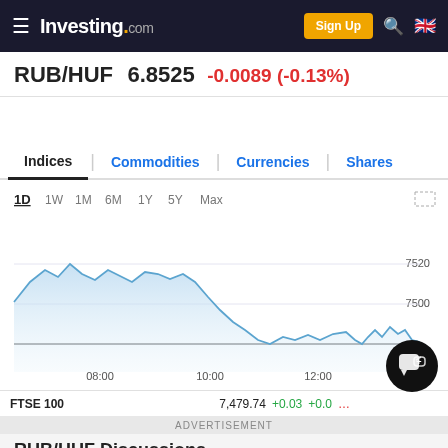Investing.com — Sign Up
RUB/HUF  6.8525  -0.0089 (-0.13%)
Indices | Commodities | Currencies | Shares
[Figure (area-chart): 1-day area chart for RUB/HUF showing price declining from ~7520 in the morning to ~7480 range by midday, with some recovery attempts in the afternoon]
ADVERTISEMENT
FTSE 100   7,479.74   +0.03   +0.0…
RUB/HUF Discussions